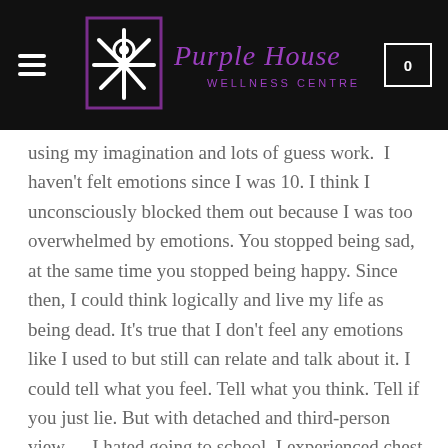Purple House Wellness Centre
using my imagination and lots of guess work.  I haven't felt emotions since I was 10. I think I unconsciously blocked them out because I was too overwhelmed by emotions. You stopped being sad, at the same time you stopped being happy. Since then, I could think logically and live my life as being dead. It's true that I don't feel any emotions like I used to but still can relate and talk about it. I could tell what you feel. Tell what you think. Tell if you just lie. But with detached and third-person view..... I hated going to school. I experienced chest pains and nausea. One thing that I realize reading this. People with alexithymia are sad and lonely people.